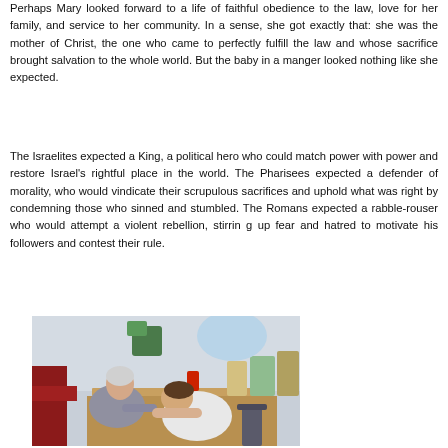Perhaps Mary looked forward to a life of faithful obedience to the law, love for her family, and service to her community. In a sense, she got exactly that: she was the mother of Christ, the one who came to perfectly fulfill the law and whose sacrifice brought salvation to the whole world. But the baby in a manger looked nothing like she expected.
The Israelites expected a King, a political hero who could match power with power and restore Israel's rightful place in the world. The Pharisees expected a defender of morality, who would vindicate their scrupulous sacrifices and uphold what was right by condemning those who sinned and stumbled. The Romans expected a rabble-rouser who would attempt a violent rebellion, stirring up fear and hatred to motivate his followers and contest their rule.
[Figure (photo): A photo of two people sitting at a table in what appears to be a community or social gathering space. An older person and a younger person are leaning toward each other, seemingly engaged in conversation or an activity. Various items and decorations are visible in the background.]